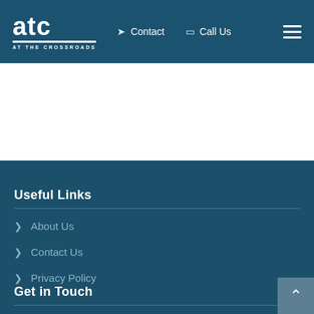ATC AT THE CROSSROADS — Contact | Call Us | Menu
Useful Links
> About Us
> Contact Us
> Privacy Policy
Get in Touch